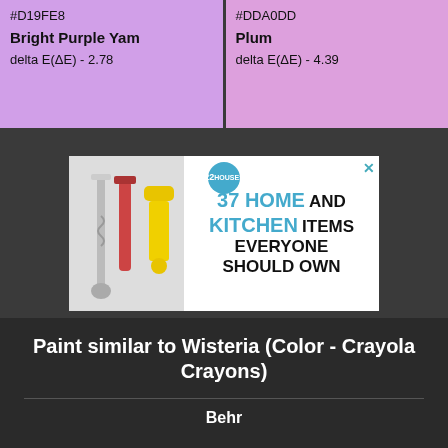#D19FE8
Bright Purple Yam
delta E(ΔE) - 2.78
#DDA0DD
Plum
delta E(ΔE) - 4.39
[Figure (screenshot): Advertisement banner: 37 HOME AND KITCHEN ITEMS EVERYONE SHOULD OWN with kitchen product images]
Paint similar to Wisteria (Color - Crayola Crayons)
Behr
CLOSE